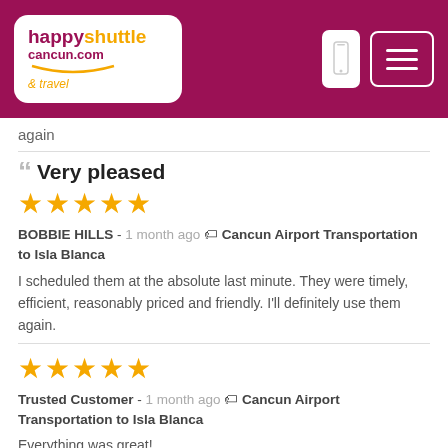[Figure (logo): Happy Shuttle Cancun logo on dark pink/maroon header bar with phone icon and hamburger menu icon]
again
Very pleased
★★★★★
BOBBIE HILLS - 1 month ago 🏷 Cancun Airport Transportation to Isla Blanca
I scheduled them at the absolute last minute. They were timely, efficient, reasonably priced and friendly. I'll definitely use them again.
★★★★★
Trusted Customer - 1 month ago 🏷 Cancun Airport Transportation to Isla Blanca
Everything was great!
Great service, no complaints!!
★★★★★
ROGELIO ALMAGUER - 1 month ago 🏷 Cancun Airport